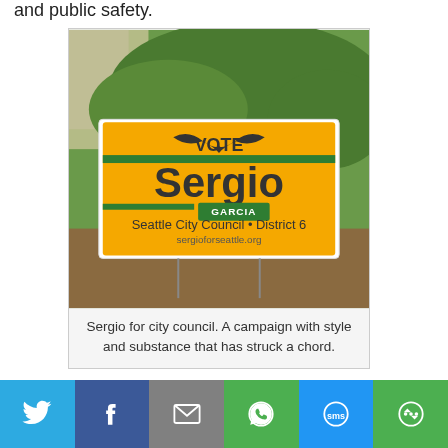and public safety.
[Figure (photo): A yellow campaign yard sign reading 'VOTE Sergio GARCIA Seattle City Council • District 6 sergioforseattle.org' with a mustache logo, placed outdoors against green bushes.]
Sergio for city council. A campaign with style and substance that has struck a chord.
In my interview, Abby
Twitter | Facebook | Email | WhatsApp | SMS | More